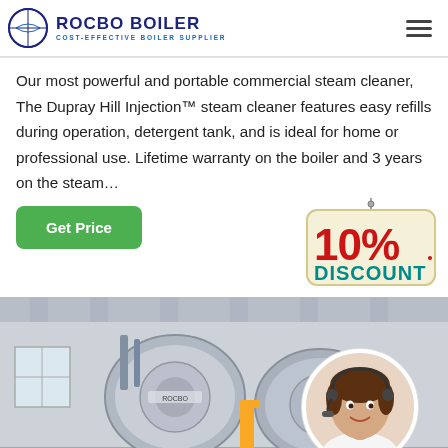[Figure (logo): Rocbo Boiler logo with crescent/globe icon and text 'ROCBO BOILER - COST-EFFECTIVE BOILER SUPPLIER']
Our most powerful and portable commercial steam cleaner, The Dupray Hill Injection™ steam cleaner features easy refills during operation, detergent tank, and is ideal for home or professional use. Lifetime warranty on the boiler and 3 years on the steam…
[Figure (infographic): Green 'Get Price' button on the left and a 10% DISCOUNT badge sign on the right]
[Figure (photo): Industrial boiler room with large cylindrical boilers, yellow piping, and a circular inset photo of a smiling female customer service representative wearing a headset]